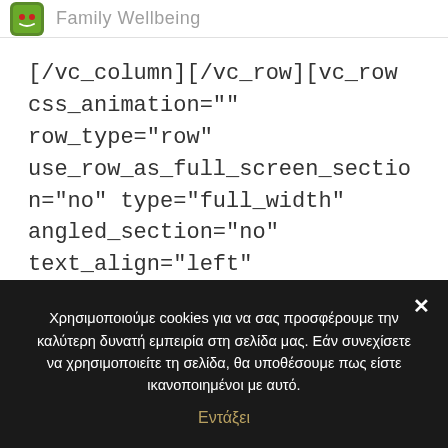Family Wellbeing
[/vc_column][/vc_row][vc_row css_animation="" row_type="row" use_row_as_full_screen_section="no" type="full_width" angled_section="no" text_align="left" background_image_as_pattern="without_pattern"][vc_column width="2/12"][/vc_column][vc_column
Χρησιμοποιούμε cookies για να σας προσφέρουμε την καλύτερη δυνατή εμπειρία στη σελίδα μας. Εάν συνεχίσετε να χρησιμοποιείτε τη σελίδα, θα υποθέσουμε πως είστε ικανοποιημένοι με αυτό.
Εντάξει